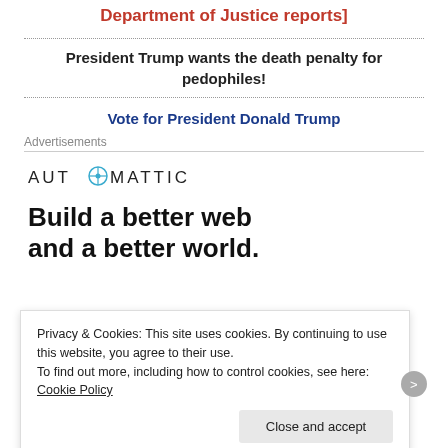Department of Justice reports]
President Trump wants the death penalty for pedophiles!
Vote for President Donald Trump
Advertisements
[Figure (logo): Automattic logo with stylized compass O]
Build a better web and a better world.
Privacy & Cookies: This site uses cookies. By continuing to use this website, you agree to their use. To find out more, including how to control cookies, see here: Cookie Policy
Close and accept